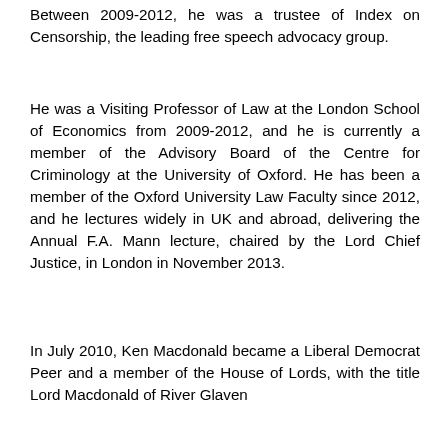Between 2009-2012, he was a trustee of Index on Censorship, the leading free speech advocacy group.
He was a Visiting Professor of Law at the London School of Economics from 2009-2012, and he is currently a member of the Advisory Board of the Centre for Criminology at the University of Oxford. He has been a member of the Oxford University Law Faculty since 2012, and he lectures widely in UK and abroad, delivering the Annual F.A. Mann lecture, chaired by the Lord Chief Justice, in London in November 2013.
In July 2010, Ken Macdonald became a Liberal Democrat Peer and a member of the House of Lords, with the title Lord Macdonald of River Glaven